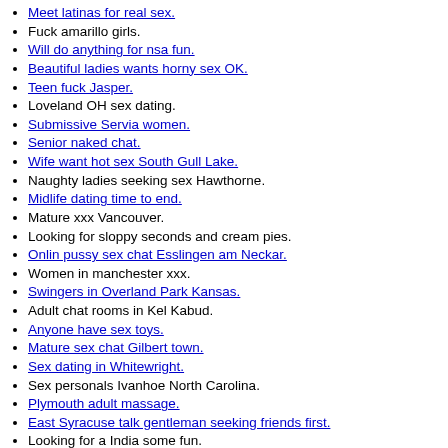Meet latinas for real sex.
Fuck amarillo girls.
Will do anything for nsa fun.
Beautiful ladies wants horny sex OK.
Teen fuck Jasper.
Loveland OH sex dating.
Submissive Servia women.
Senior naked chat.
Wife want hot sex South Gull Lake.
Naughty ladies seeking sex Hawthorne.
Midlife dating time to end.
Mature xxx Vancouver.
Looking for sloppy seconds and cream pies.
Onlin pussy sex chat Esslingen am Neckar.
Women in manchester xxx.
Swingers in Overland Park Kansas.
Adult chat rooms in Kel Kabud.
Anyone have sex toys.
Mature sex chat Gilbert town.
Sex dating in Whitewright.
Sex personals Ivanhoe North Carolina.
Plymouth adult massage.
East Syracuse talk gentleman seeking friends first.
Looking for a India some fun.
Martinsville MO sex dating.